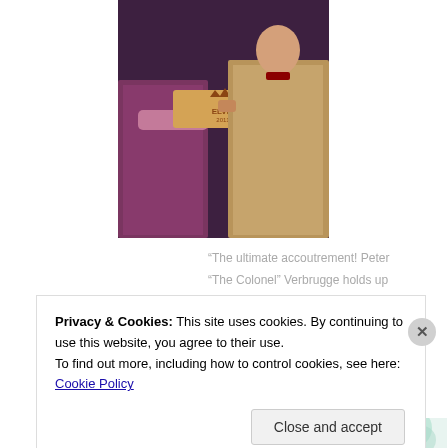[Figure (photo): Two people holding up an Elvis 2011 champion's belt at an event. One person wears sequined clothing, the other wears a tan jacket.]
"The ultimate accoutrement! Peter "The Colonel" Verbrugge holds up the champ's belt. Ronnie Porter wears it this year."
[Figure (infographic): Advertisement banner with decorative items and a Learn more arrow button]
Privacy & Cookies: This site uses cookies. By continuing to use this website, you agree to their use.
To find out more, including how to control cookies, see here: Cookie Policy
Close and accept